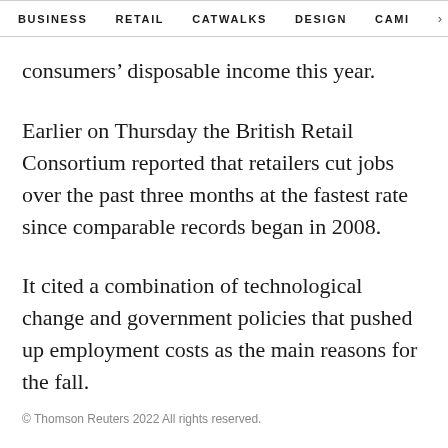BUSINESS   RETAIL   CATWALKS   DESIGN   CAMI  >
consumers’ disposable income this year.
Earlier on Thursday the British Retail Consortium reported that retailers cut jobs over the past three months at the fastest rate since comparable records began in 2008.
It cited a combination of technological change and government policies that pushed up employment costs as the main reasons for the fall.
© Thomson Reuters 2022 All rights reserved.